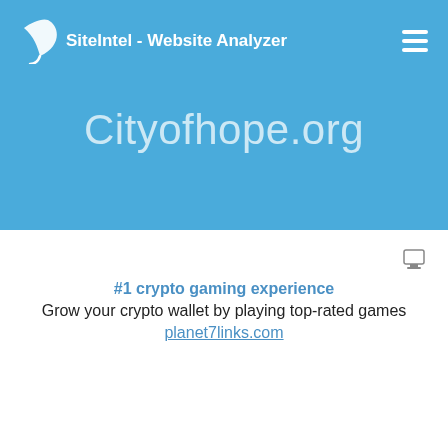SiteIntel - Website Analyzer
Cityofhope.org
[Figure (screenshot): Small icon/thumbnail image in the white content area, top right]
#1 crypto gaming experience
Grow your crypto wallet by playing top-rated games
planet7links.com